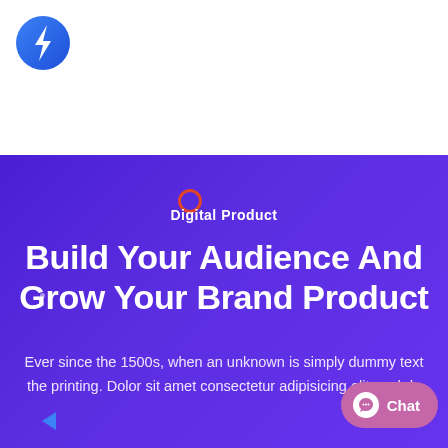[Figure (logo): Blue circle logo with white lightning bolt icon]
Digital Product
Build Your Audience And Grow Your Brand Product
Ever since the 1500s, when an unknown is simply dummy text the printing. Dolor sit amet consectetur adipisicing elit, sed do